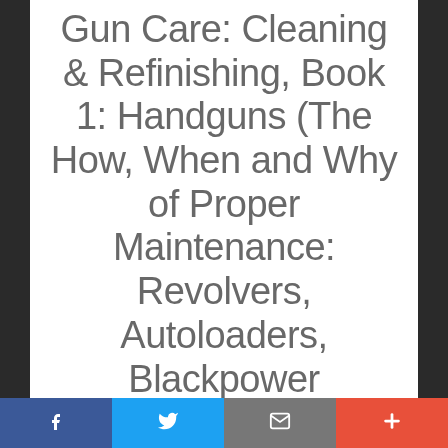Gun Care: Cleaning & Refinishing, Book 1: Handguns (The How, When and Why of Proper Maintenance: Revolvers, Autoloaders, Blackpower Handguns)
f  [twitter bird]  [email]  +